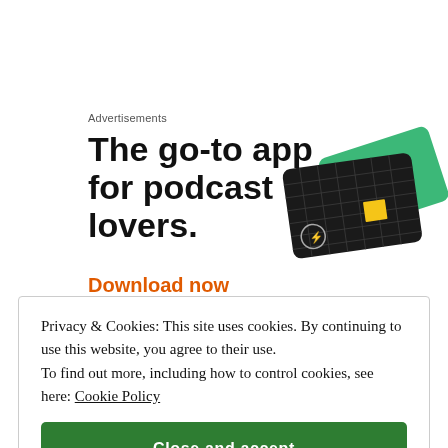Advertisements
The go-to app for podcast lovers.
Download now
[Figure (illustration): Angled phone app screens/cards — dark card with yellow square and green card with cursive 'On' text visible, partially cropped at right edge]
Privacy & Cookies: This site uses cookies. By continuing to use this website, you agree to their use. To find out more, including how to control cookies, see here: Cookie Policy
Close and accept